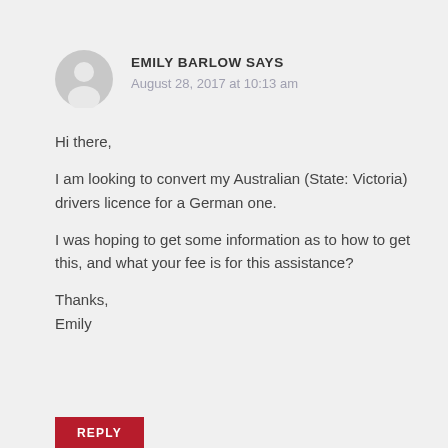[Figure (illustration): Gray circular avatar/user icon placeholder]
EMILY BARLOW SAYS
August 28, 2017 at 10:13 am
Hi there,
I am looking to convert my Australian (State: Victoria) drivers licence for a German one.

I was hoping to get some information as to how to get this, and what your fee is for this assistance?

Thanks,
Emily
REPLY